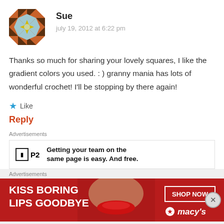[Figure (illustration): Decorative quilt/mosaic avatar image with orange, white, blue, and yellow geometric pattern]
Sue
july 19, 2012 at 6:22 pm
Thanks so much for sharing your lovely squares, I like the gradient colors you used. : ) granny mania has lots of wonderful crochet! I'll be stopping by there again!
Like
Reply
Advertisements
[Figure (logo): P2 logo - square icon with letter P and 2]
Getting your team on the same page is easy. And free.
Advertisements
[Figure (photo): Macy's advertisement: KISS BORING LIPS GOODBYE with red lips model photo, SHOP NOW button and Macy's star logo]